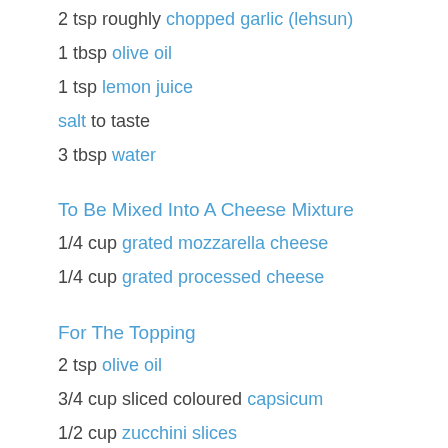2 tsp roughly chopped garlic (lehsun)
1 tbsp olive oil
1 tsp lemon juice
salt to taste
3 tbsp water
To Be Mixed Into A Cheese Mixture
1/4 cup grated mozzarella cheese
1/4 cup grated processed cheese
For The Topping
2 tsp olive oil
3/4 cup sliced coloured capsicum
1/2 cup zucchini slices
1/2 tsp dried mixed herbs
salt to taste